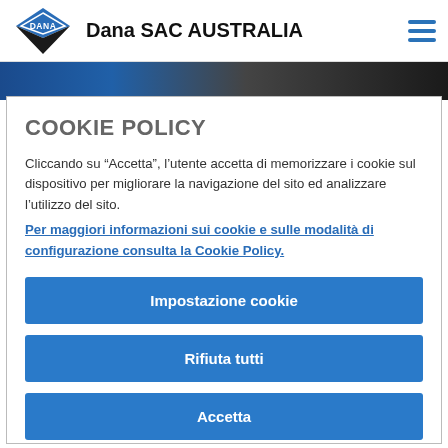Dana SAC AUSTRALIA
COOKIE POLICY
Cliccando su “Accetta”, l’utente accetta di memorizzare i cookie sul dispositivo per migliorare la navigazione del sito ed analizzare l’utilizzo del sito.
Per maggiori informazioni sui cookie e sulle modalità di configurazione consulta la Cookie Policy.
Impostazione cookie
Rifiuta tutti
Accetta